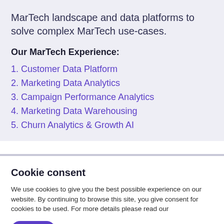MarTech landscape and data platforms to solve complex MarTech use-cases.
Our MarTech Experience:
1. Customer Data Platform
2. Marketing Data Analytics
3. Campaign Performance Analytics
4. Marketing Data Warehousing
5. Churn Analytics & Growth AI
Cookie consent
We use cookies to give you the best possible experience on our website. By continuing to browse this site, you give consent for cookies to be used. For more details please read our
I agree   Show more